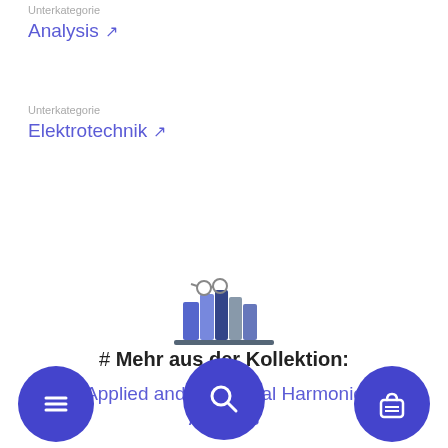Unterkategorie
Analysis ↗
Unterkategorie
Elektrotechnik ↗
[Figure (illustration): Books on a shelf icon with glasses]
# Mehr aus der Kollektion:
Applied and Numerical Harmonic Analysis
[Figure (infographic): Bottom navigation bar with three circular buttons: menu (hamburger), search (magnifying glass), and shopping bag icons on purple circles]